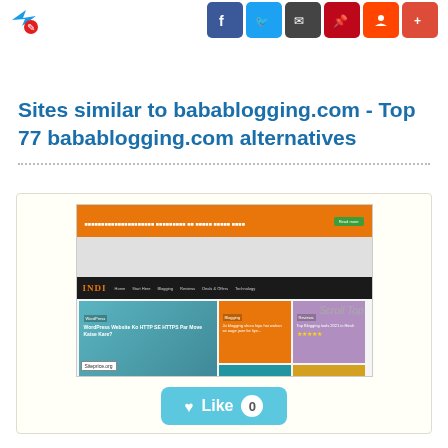Social share icons and navigation header
Sites similar to babablogging.com - Top 77 babablogging.com alternatives
[Figure (screenshot): Screenshot of babablogging.com website showing orange header bar, site logo INDI, navigation links (Home, Start Here, Blogging, Reviews, Deals & Offers, Technology), and a content grid with blog posts including 'WordPress Website Ko HTTP SE HTTPS Par Move Kaise Kare?'. A 'Scroll Top' label appears on the right. At the bottom is a Like button with count 0.]